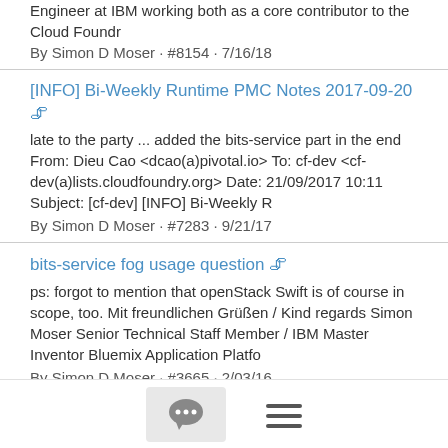Engineer at IBM working both as a core contributor to the Cloud Foundr
By Simon D Moser · #8154 · 7/16/18
[INFO] Bi-Weekly Runtime PMC Notes 2017-09-20 📎
late to the party ... added the bits-service part in the end From: Dieu Cao <dcao(a)pivotal.io> To: cf-dev <cf-dev(a)lists.cloudfoundry.org> Date: 21/09/2017 10:11 Subject: [cf-dev] [INFO] Bi-Weekly R
By Simon D Moser · #7283 · 9/21/17
bits-service fog usage question 📎
ps: forgot to mention that openStack Swift is of course in scope, too. Mit freundlichen Grüßen / Kind regards Simon Moser Senior Technical Staff Member / IBM Master Inventor Bluemix Application Platfo
By Simon D Moser · #3665 · 2/03/16
bits-service fog usage question 📎